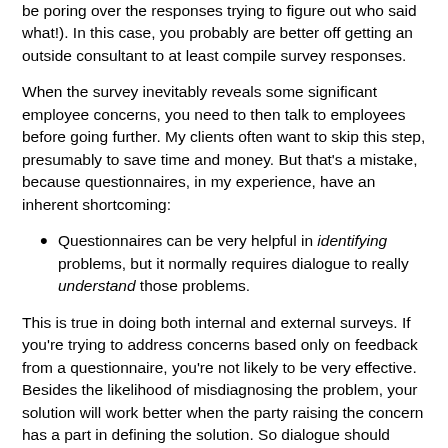be poring over the responses trying to figure out who said what!). In this case, you probably are better off getting an outside consultant to at least compile survey responses.
When the survey inevitably reveals some significant employee concerns, you need to then talk to employees before going further. My clients often want to skip this step, presumably to save time and money. But that's a mistake, because questionnaires, in my experience, have an inherent shortcoming:
Questionnaires can be very helpful in identifying problems, but it normally requires dialogue to really understand those problems.
This is true in doing both internal and external surveys. If you're trying to address concerns based only on feedback from a questionnaire, you're not likely to be very effective. Besides the likelihood of misdiagnosing the problem, your solution will work better when the party raising the concern has a part in defining the solution. So dialogue should always accompany an employee questionnaire.